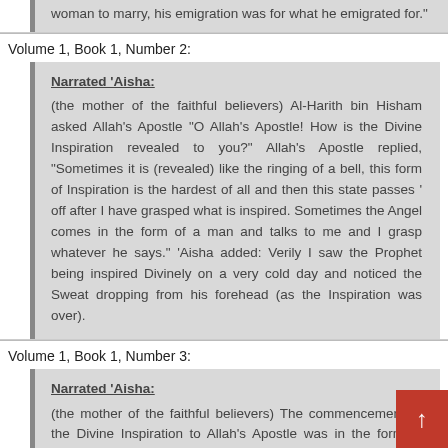woman to marry, his emigration was for what he emigrated for."
Volume 1, Book 1, Number 2:
Narrated 'Aisha: (the mother of the faithful believers) Al-Harith bin Hisham asked Allah's Apostle "O Allah's Apostle! How is the Divine Inspiration revealed to you?" Allah's Apostle replied, "Sometimes it is (revealed) like the ringing of a bell, this form of Inspiration is the hardest of all and then this state passes ' off after I have grasped what is inspired. Sometimes the Angel comes in the form of a man and talks to me and I grasp whatever he says." 'Aisha added: Verily I saw the Prophet being inspired Divinely on a very cold day and noticed the Sweat dropping from his forehead (as the Inspiration was over).
Volume 1, Book 1, Number 3:
Narrated 'Aisha: (the mother of the faithful believers) The commencement of the Divine Inspiration to Allah's Apostle was in the form of good dreams which came